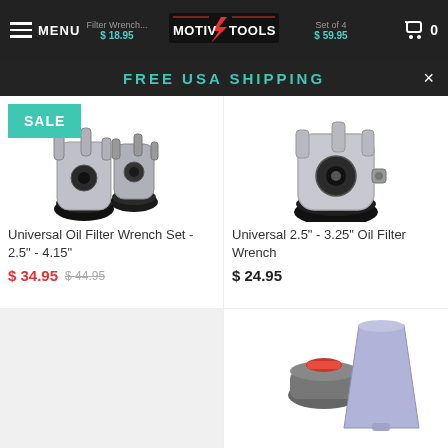MENU | MotivX Tools | 0
FREE USA SHIPPING
[Figure (photo): Universal Oil Filter Wrench Set - 2.5" - 4.15" product photo showing two chrome oil filter wrenches with rubber base, SALE badge overlay]
Universal Oil Filter Wrench Set - 2.5" - 4.15"
$ 34.95  $ 44.95
[Figure (photo): Universal 2.5" - 3.25" Oil Filter Wrench product photo showing single chrome oil filter wrench with rubber base]
Universal 2.5" - 3.25" Oil Filter Wrench
$ 24.95
[Figure (photo): Partial view of a product with light background (bottom left)]
[Figure (photo): Partial view of a funnel-type oil tool, gray base with red cap and purple/lavender cone funnel (bottom right)]